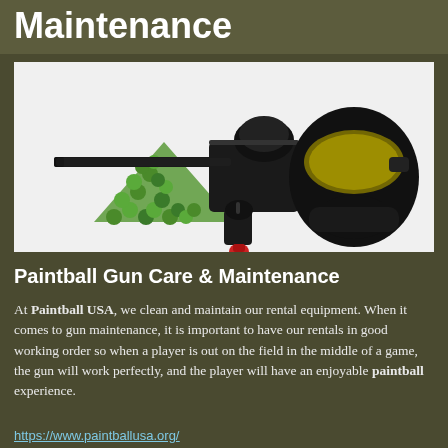Maintenance
[Figure (photo): Paintball gun (marker) in black with hopper, a pile of green paintballs in a triangular pile, and a black paintball mask/goggle system arranged together on a white background.]
Paintball Gun Care & Maintenance
At Paintball USA, we clean and maintain our rental equipment. When it comes to gun maintenance, it is important to have our rentals in good working order so when a player is out on the field in the middle of a game, the gun will work perfectly, and the player will have an enjoyable paintball experience.
https://www.paintballusa.org/